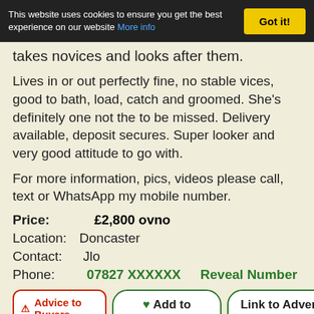This website uses cookies to ensure you get the best experience on our website More info  Got it!
takes novices and looks after them.
Lives in or out perfectly fine, no stable vices, good to bath, load, catch and groomed. She's definitely one not the to be missed. Delivery available, deposit secures. Super looker and very good attitude to go with.
For more information, pics, videos please call, text or WhatsApp my mobile number.
Price:   £2,800 ovno
Location:  Doncaster
Contact:  Jlo
Phone:  07827 XXXXXX   Reveal Number